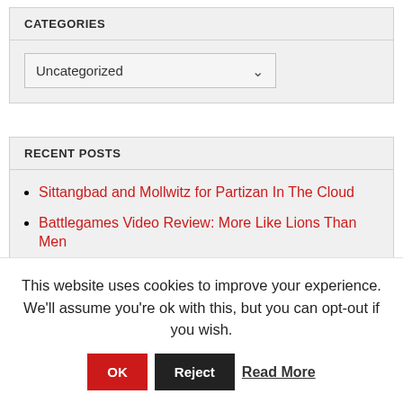CATEGORIES
Uncategorized
RECENT POSTS
Sittangbad and Mollwitz for Partizan In The Cloud
Battlegames Video Review: More Like Lions Than Men
Battlegames Video Review: Northag Rules and Miniatures from Plastic Soldier
Playing Games Online – Guest Post by Brian Fish
This website uses cookies to improve your experience. We'll assume you're ok with this, but you can opt-out if you wish.
OK  Reject  Read More